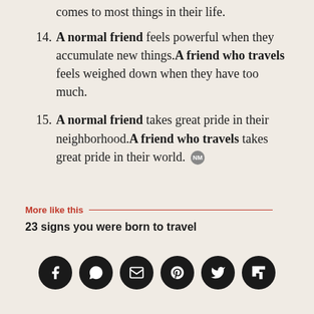comes to most things in their life.
14. A normal friend feels powerful when they accumulate new things. A friend who travels feels weighed down when they have too much.
15. A normal friend takes great pride in their neighborhood. A friend who travels takes great pride in their world.
More like this
23 signs you were born to travel
[Figure (infographic): Six social media share buttons (Facebook, WhatsApp, Email, Pinterest, Twitter, Flipboard) displayed as black circular icons with white symbols]